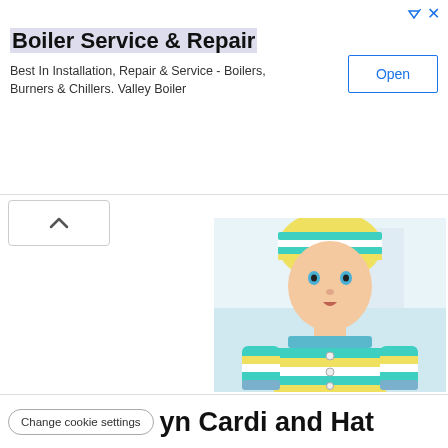[Figure (other): Advertisement banner for Boiler Service & Repair with an Open button]
Boiler Service & Repair
Best In Installation, Repair & Service - Boilers, Burners & Chillers. Valley Boiler
[Figure (photo): Toddler/baby wearing a striped knitted cardigan in blue, yellow and white horizontal stripes with matching knitted hat, also striped in blue and yellow. Baby has blue eyes and is wearing jeans.]
yn Cardi and Hat